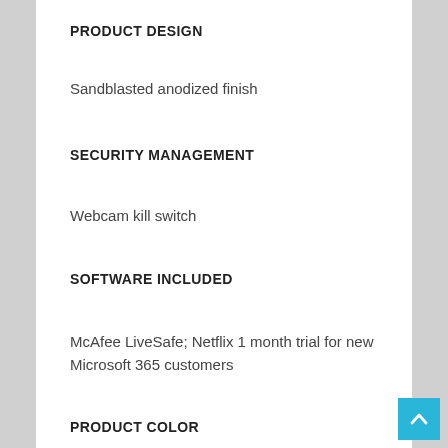PRODUCT DESIGN
Sandblasted anodized finish
SECURITY MANAGEMENT
Webcam kill switch
SOFTWARE INCLUDED
McAfee LiveSafe; Netflix 1 month trial for new Microsoft 365 customers
PRODUCT COLOR
Natural silver